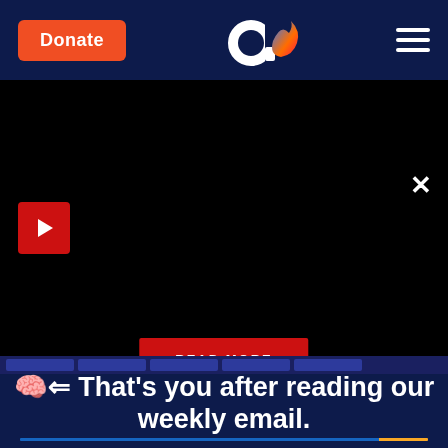Donate | Aish.com logo | Menu
[Figure (screenshot): Black video player section with red play button in top-left, close X button in top-right, and red READ MORE button centered near bottom]
🧠⬅ That's you after reading our weekly email.
Our weekly email is chock full of interesting and relevant insights into Jewish history, food, philosophy, current events, holidays and more. Sign up now. Impress your friends with how much